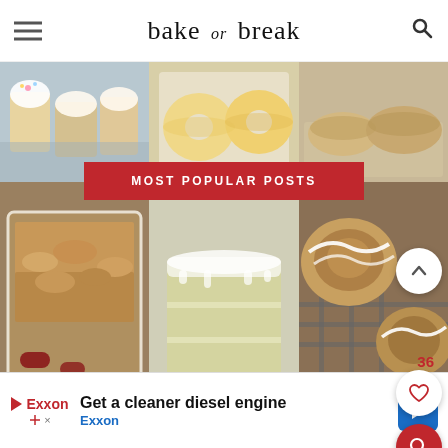bake or break
[Figure (photo): Grid of 6 food photos showing baked goods: decorated cupcakes, glazed donuts, biscuits/scones, berry crumble in baking dish, layered frosted cake, glazed cinnamon rolls on cooling rack]
MOST POPULAR POSTS
HOME
ABOUT
RECIPE INDEX
PRIVACY POLICY
DISCLOSURE STATEMENT
[Figure (infographic): Advertisement for Exxon: Get a cleaner diesel engine, with Exxon logo and blue directional arrow button]